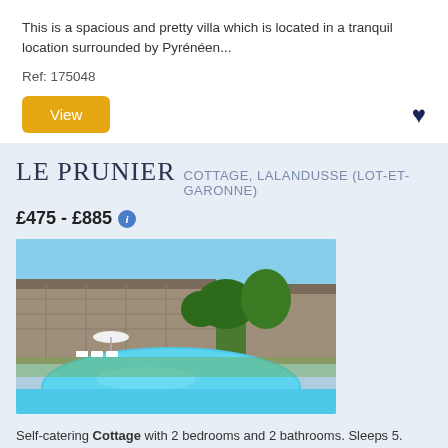This is a spacious and pretty villa which is located in a tranquil location surrounded by Pyrénéen...
Ref: 175048
[Figure (other): View button and heart/favourite icon]
LE PRUNIER COTTAGE, LALANDUSSE (LOT-ET-GARONNE)
£475 - £885
[Figure (photo): Photo of a cottage with a swimming pool in the foreground, stone building and trees in the background, sunny day]
Self-catering Cottage with 2 bedrooms and 2 bathrooms. Sleeps 5. Saturday changeover.
This beautiful, tranquil, renovated property is 25km south of the Dordogne River amid gently